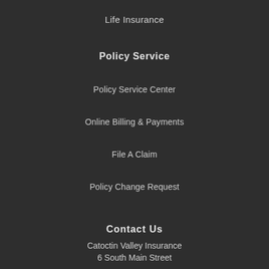Life Insurance
Policy Service
Policy Service Center
Online Billing & Payments
File A Claim
Policy Change Request
Contact Us
Catoctin Valley Insurance
6 South Main Street